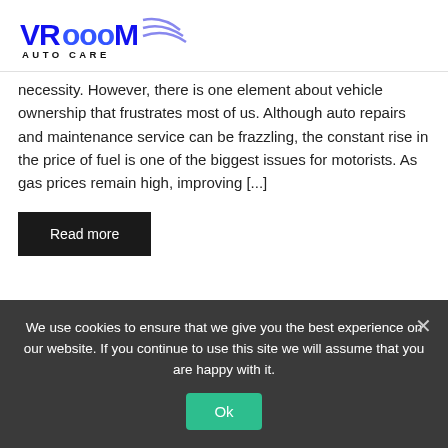[Figure (logo): Vrooom Auto Care logo with bold blue stylized text and swoosh graphic, with AUTO CARE subtitle in black uppercase letters]
necessity. However, there is one element about vehicle ownership that frustrates most of us. Although auto repairs and maintenance service can be frazzling, the constant rise in the price of fuel is one of the biggest issues for motorists. As gas prices remain high, improving [...]
Read more
[Figure (photo): Dark photograph partially visible at bottom of content area]
We use cookies to ensure that we give you the best experience on our website. If you continue to use this site we will assume that you are happy with it.
Ok